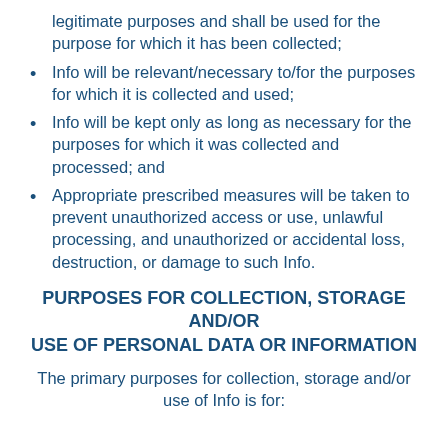legitimate purposes and shall be used for the purpose for which it has been collected;
Info will be relevant/necessary to/for the purposes for which it is collected and used;
Info will be kept only as long as necessary for the purposes for which it was collected and processed; and
Appropriate prescribed measures will be taken to prevent unauthorized access or use, unlawful processing, and unauthorized or accidental loss, destruction, or damage to such Info.
PURPOSES FOR COLLECTION, STORAGE AND/OR USE OF PERSONAL DATA OR INFORMATION
The primary purposes for collection, storage and/or use of Info is for: